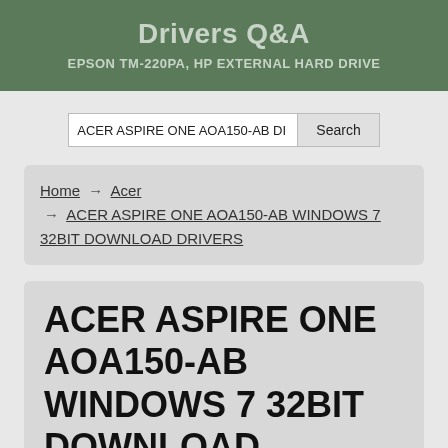Drivers Q&A
EPSON TM-220PA, HP EXTERNAL HARD DRIVE
ACER ASPIRE ONE AOA150-AB DI [Search]
Home → Acer → ACER ASPIRE ONE AOA150-AB WINDOWS 7 32BIT DOWNLOAD DRIVERS
ACER ASPIRE ONE AOA150-AB WINDOWS 7 32BIT DOWNLOAD DRIVERS